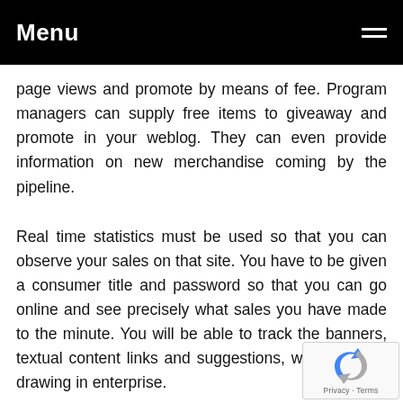Menu
page views and promote by means of fee. Program managers can supply free items to giveaway and promote in your weblog. They can even provide information on new merchandise coming by the pipeline.
Real time statistics must be used so that you can observe your sales on that site. You have to be given a consumer title and password so that you can go online and see precisely what sales you have made to the minute. You will be able to track the banners, textual content links and suggestions, which can be drawing in enterprise.
[Figure (logo): reCAPTCHA badge with Privacy and Terms links]